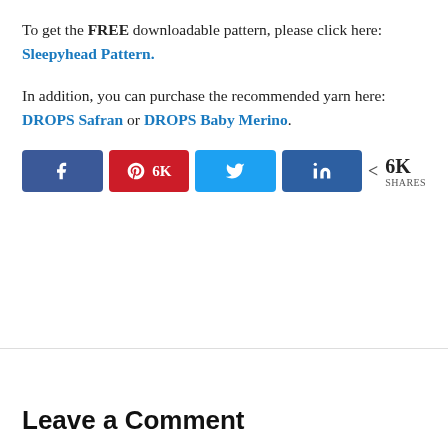To get the FREE downloadable pattern, please click here: Sleepyhead Pattern.
In addition, you can purchase the recommended yarn here: DROPS Safran or DROPS Baby Merino.
[Figure (other): Social share buttons: Facebook, Pinterest (6K), Twitter, LinkedIn, and a share count showing 6K SHARES]
Leave a Comment